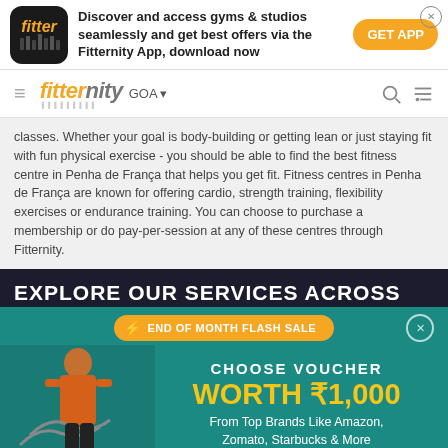[Figure (screenshot): Fitternity app promotion banner with logo, text and GET APP button]
fitternity GOA
classes. Whether your goal is body-building or getting lean or just staying fit with fun physical exercise - you should be able to find the best fitness centre in Penha de França that helps you get fit. Fitness centres in Penha de França are known for offering cardio, strength training, flexibility exercises or endurance training. You can choose to purchase a membership or do pay-per-session at any of these centres through Fitternity.
EXPLORE OUR SERVICES ACROSS
[Figure (infographic): End of month flash sale promo: Choose Voucher Worth ₹1,000 From Top Brands Like Amazon, Zomato, Starbucks & More]